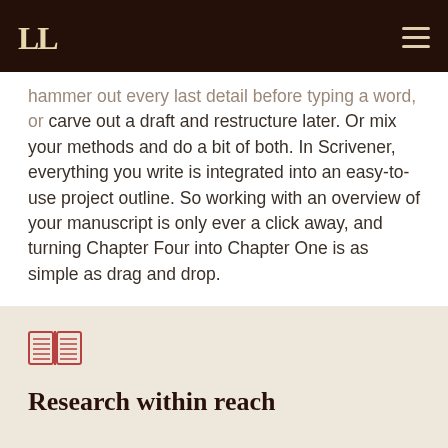LL [logo] [hamburger menu]
hammer out every last detail before typing a word, or carve out a draft and restructure later. Or mix your methods and do a bit of both. In Scrivener, everything you write is integrated into an easy-to-use project outline. So working with an overview of your manuscript is only ever a click away, and turning Chapter Four into Chapter One is as simple as drag and drop.
MORE FEATURES >
[Figure (illustration): Open book icon with lines representing text pages, rendered in reddish-brown outline style]
Research within reach